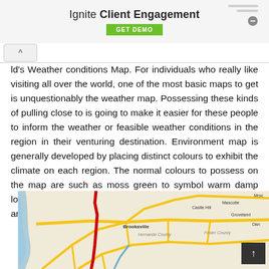[Figure (infographic): Advertisement banner: 'Ignite Client Engagement' with a green GET DEMO button and a chat icon with horizontal lines on the right side]
ld's Weather conditions Map. For individuals who really like visiting all over the world, one of the most basic maps to get is unquestionably the weather map. Possessing these kinds of pulling close to is going to make it easier for these people to inform the weather or feasible weather conditions in the region in their venturing destination. Environment map is generally developed by placing distinct colours to exhibit the climate on each region. The normal colours to possess on the map are such as moss green to symbol warm damp location, brown for dry place, and white colored to tag the area with ice cover all around it.
[Figure (map): Road map showing Brooksville area with yellow highways, a red route, blue waterway on the left, and surrounding towns including Castle Hill, Mascotte, Groveland, and partial view of other localities]